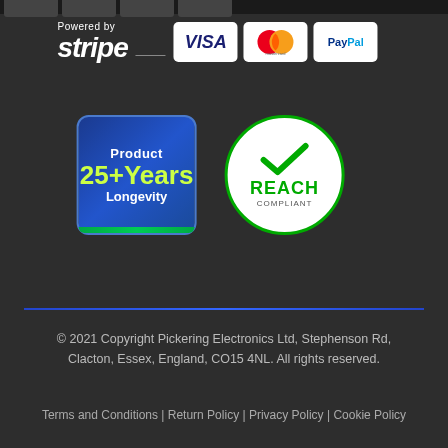[Figure (logo): Powered by Stripe payment logo with VISA, Mastercard, and PayPal card icons]
[Figure (logo): Product 25+ Years Longevity badge (blue square with green bottom bar) and REACH Compliant badge (white circle with green checkmark)]
© 2021 Copyright Pickering Electronics Ltd, Stephenson Rd, Clacton, Essex, England, CO15 4NL. All rights reserved.
Terms and Conditions | Return Policy | Privacy Policy | Cookie Policy